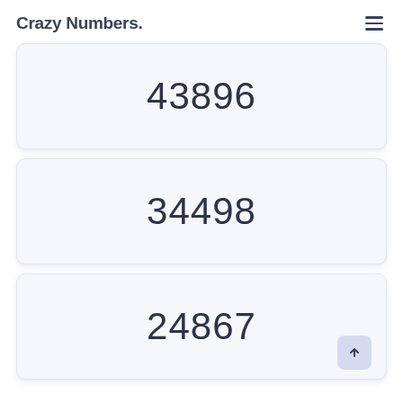Crazy Numbers.
43896
34498
24867